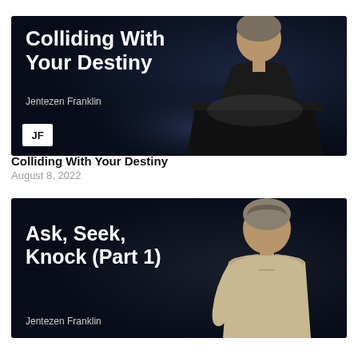[Figure (photo): Thumbnail image with dark background showing a man holding a microphone at a podium. Bold white text reads 'Colliding With Your Destiny' with subtitle 'Jentezen Franklin'. JF logo in bottom left corner.]
Colliding With Your Destiny
August 8, 2022
[Figure (photo): Thumbnail image with dark background showing a man in a beige hoodie. Bold white text reads 'Ask, Seek, Knock (Part 1)' with subtitle 'Jentezen Franklin'.]